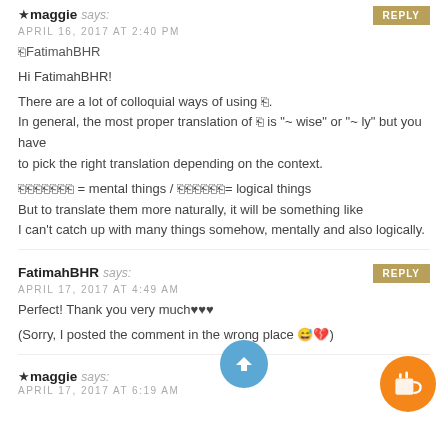★ maggie says: APRIL 16, 2017 AT 2:40 PM
🔲FatimahBHR
Hi FatimahBHR!
There are a lot of colloquial ways of using 🔲. In general, the most proper translation of 🔲 is "~ wise" or "~ ly" but you have to pick the right translation depending on the context.
🔲🔲🔲🔲🔲🔲🔲 = mental things / 🔲🔲🔲🔲🔲🔲= logical things
But to translate them more naturally, it will be something like
I can't catch up with many things somehow, mentally and also logically.
FatimahBHR says: APRIL 17, 2017 AT 4:49 AM
Perfect! Thank you very much♥♥♥
(Sorry, I posted the comment in the wrong place 😅💔)
★ maggie says: APRIL 17, 2017 AT 6:19 AM